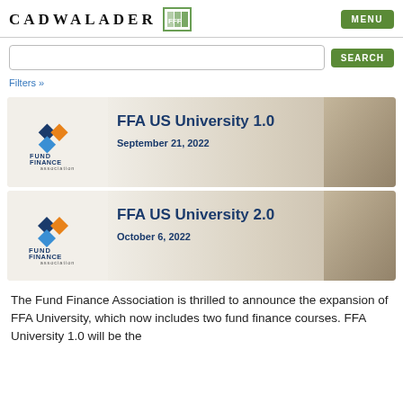CADWALADER | FFF | MENU
Filters »
[Figure (illustration): FFA US University 1.0 banner with Fund Finance Association logo on left and graduation cap photo on right. Title: FFA US University 1.0, Date: September 21, 2022]
[Figure (illustration): FFA US University 2.0 banner with Fund Finance Association logo on left and graduation cap photo on right. Title: FFA US University 2.0, Date: October 6, 2022]
The Fund Finance Association is thrilled to announce the expansion of FFA University, which now includes two fund finance courses. FFA University 1.0 will be the